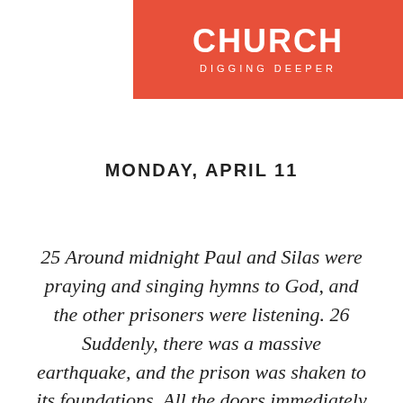CHURCH
DIGGING DEEPER
MONDAY, APRIL 11
25 Around midnight Paul and Silas were praying and singing hymns to God, and the other prisoners were listening. 26 Suddenly, there was a massive earthquake, and the prison was shaken to its foundations. All the doors immediately flew open, and the chains of every